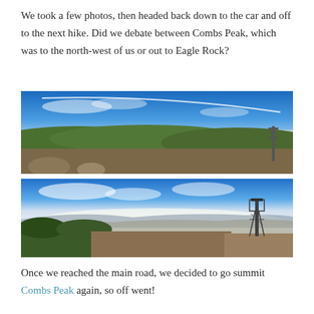We took a few photos, then headed back down to the car and off to the next hike. Did we debate between Combs Peak, which was to the north-west of us or out to Eagle Rock?
[Figure (photo): Panoramic landscape photo from a mountain summit showing blue sky with wispy clouds and contrails, green forested hills, a distant valley with hazy mountains, and a communication tower on the right.]
[Figure (photo): Panoramic landscape photo from a hilltop showing blue sky with clouds, wide valley views, brown scrubby terrain in foreground, and a metal fire lookout tower on the right side.]
Once we reached the main road, we decided to go summit Combs Peak again, so off went!